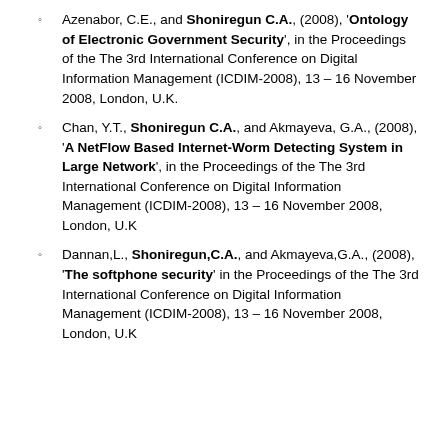'Handshake', in the Proceedings of the The 3rd International Conference on Digital Information Management (ICDIM-2008), 13 – 16 November 2008, London, U.K.
Azenabor, C.E., and Shoniregun C.A., (2008), 'Ontology of Electronic Government Security', in the Proceedings of the The 3rd International Conference on Digital Information Management (ICDIM-2008), 13 – 16 November 2008, London, U.K.
Chan, Y.T., Shoniregun C.A., and Akmayeva, G.A., (2008), 'A NetFlow Based Internet-Worm Detecting System in Large Network', in the Proceedings of the The 3rd International Conference on Digital Information Management (ICDIM-2008), 13 – 16 November 2008, London, U.K
Dannan,L., Shoniregun,C.A., and Akmayeva,G.A., (2008), 'The softphone security' in the Proceedings of the The 3rd International Conference on Digital Information Management (ICDIM-2008), 13 – 16 November 2008, London, U.K